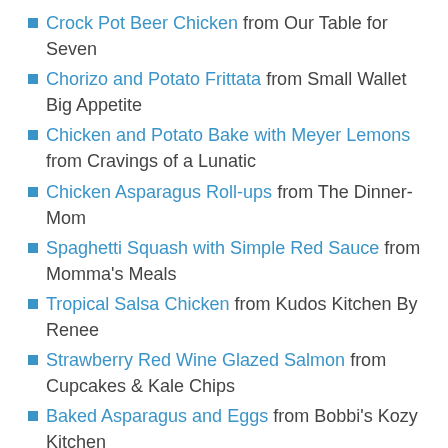Crock Pot Beer Chicken from Our Table for Seven
Chorizo and Potato Frittata from Small Wallet Big Appetite
Chicken and Potato Bake with Meyer Lemons from Cravings of a Lunatic
Chicken Asparagus Roll-ups from The Dinner-Mom
Spaghetti Squash with Simple Red Sauce from Momma's Meals
Tropical Salsa Chicken from Kudos Kitchen By Renee
Strawberry Red Wine Glazed Salmon from Cupcakes & Kale Chips
Baked Asparagus and Eggs from Bobbi's Kozy Kitchen
Grilled Caprese Salad Sandwich from Rants From My Crazy Kitchen
Beef Short Rib Bourguignon from Food Lust People Love
Beans and Egg Sandwich from Basic N Delicious
Honey Almond Salmon from Family Foodie
BBQ Foiled Chicken from Meal Diva